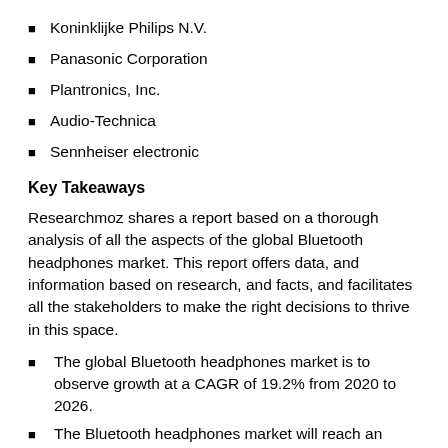Koninklijke Philips N.V.
Panasonic Corporation
Plantronics, Inc.
Audio-Technica
Sennheiser electronic
Key Takeaways
Researchmoz shares a report based on a thorough analysis of all the aspects of the global Bluetooth headphones market. This report offers data, and information based on research, and facts, and facilitates all the stakeholders to make the right decisions to thrive in this space.
The global Bluetooth headphones market is to observe growth at a CAGR of 19.2% from 2020 to 2026.
The Bluetooth headphones market will reach an estimated value of USD45.7bn by 2026.
Noise Cancellation and better battery performance to drive